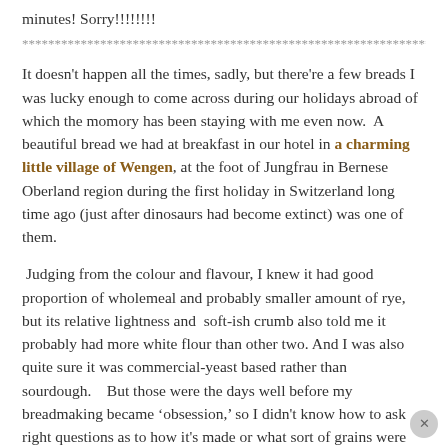minutes! Sorry!!!!!!!
************************************************************************************
It doesn't happen all the times, sadly, but there're a few breads I was lucky enough to come across during our holidays abroad of which the momory has been staying with me even now.  A beautiful bread we had at breakfast in our hotel in a charming little village of Wengen, at the foot of Jungfrau in Bernese Oberland region during the first holiday in Switzerland long time ago (just after dinosaurs had become extinct) was one of them.
Judging from the colour and flavour, I knew it had good proportion of wholemeal and probably smaller amount of rye, but its relative lightness and  soft-ish crumb also told me it probably had more white flour than other two. And I was also quite sure it was commercial-yeast based rather than sourdough.   But those were the days well before my breadmaking became ‘obsession,’ so I didn't know how to ask right questions as to how it's made or what sort of grains were used.  When one of the waiters in the hotel's breakfast room told me it was a most common bread in the area and I was satisfied with the info, (naively) thinking I'd find a